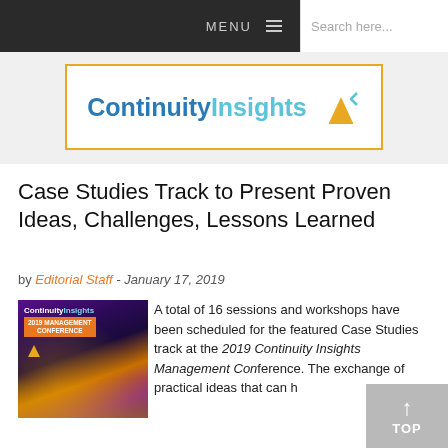MENU  Search here...
[Figure (logo): Continuity Insights logo with orange border, blue and teal text, and orange arrow icon]
Case Studies Track to Present Proven Ideas, Challenges, Lessons Learned
by Editorial Staff - January 17, 2019
[Figure (photo): 2019 Continuity Insights Management Conference promotional image with purple/gold lighting and CI logo badge]
A total of 16 sessions and workshops have been scheduled for the featured Case Studies track at the 2019 Continuity Insights Management Con... The exchange of practical ideas that can h... critical problems or improve the efficiency or effectiveness of an...